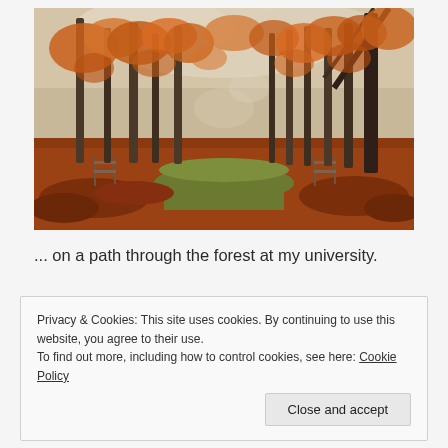[Figure (photo): Autumn forest scene with tall bare trees, orange and red fallen leaves covering the ground, a mossy ridge path running through the center, and a wooden fence visible in the background. Taken at a university forest.]
... on a path through the forest at my university.
Privacy & Cookies: This site uses cookies. By continuing to use this website, you agree to their use.
To find out more, including how to control cookies, see here: Cookie Policy
Close and accept